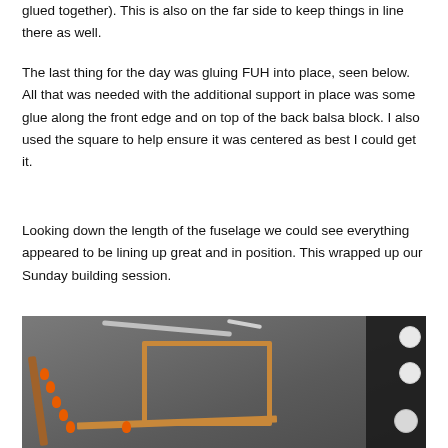glued together). This is also on the far side to keep things in line there as well.
The last thing for the day was gluing FUH into place, seen below. All that was needed with the additional support in place was some glue along the front edge and on top of the back balsa block. I also used the square to help ensure it was centered as best I could get it.
Looking down the length of the fuselage we could see everything appeared to be lining up great and in position. This wrapped up our Sunday building session.
[Figure (photo): Photo of a model airplane fuselage frame made of wood (balsa), held together with orange-tipped pins on a gray work surface. Tools (knife/blade) visible in the background. Construction pins and white circular hardware visible on the right side on a dark surface.]